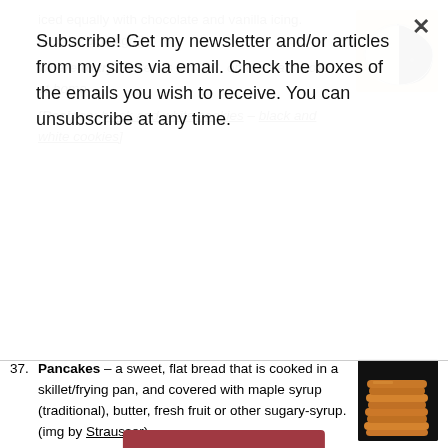Subscribe! Get my newsletter and/or articles from my sites via email. Check the boxes of the emails you wish to receive. You can unsubscribe at any time.
Subscribe
iced equally with chocolate and vanilla icing. (img by bionicgrrl)
where to try: bakeries in NYC, on the East Coast, at home.
[Recipes: black and white cookies – black and white cookies]
37. Pancakes – a sweet, flat bread that is cooked in a skillet/frying pan, and covered with maple syrup (traditional), butter, fresh fruit or other sugary-syrup. (img by Strausser)
where to try: at home, IHOP, or other breakfast restaurants.
[Recipes: pancakes – blueberry buttermilk pancakes – pumpkin